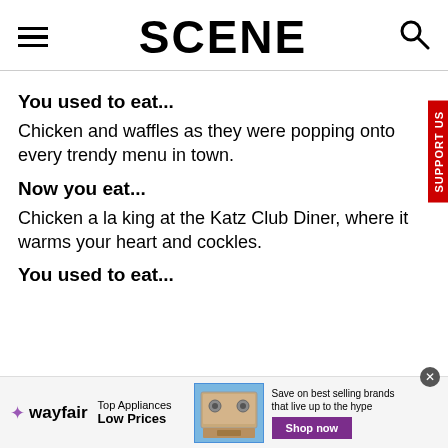SCENE
You used to eat...
Chicken and waffles as they were popping onto every trendy menu in town.
Now you eat...
Chicken a la king at the Katz Club Diner, where it warms your heart and cockles.
You used to eat...
[Figure (other): Wayfair advertisement banner: Top Appliances Low Prices, Save on best selling brands that live up to the hype, Shop now button]